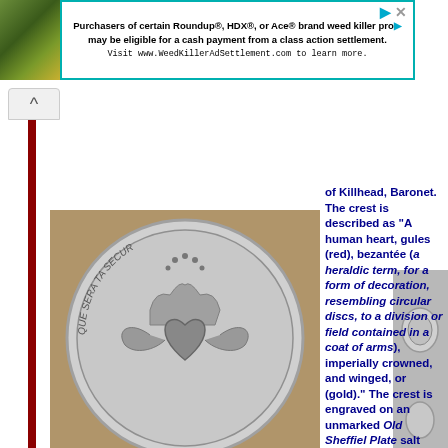[Figure (photo): Green foliage / plant photo in top-left corner]
[Figure (other): Advertisement banner: Purchasers of certain Roundup®, HDX®, or Ace® brand weed killer products may be eligible for a cash payment from a class action settlement. Visit www.WeedKillerAdSettlement.com to learn more.]
[Figure (photo): Silver coin/medallion engraved with a human heart with crown and wings, with text 'QUE SERA TA SECUR' around the edge, held in a hand]
of Killhead, Baronet. The crest is described as "A human heart, gules (red), bezantée (a heraldic term, for a form of decoration, resembling circular discs, to a division or field contained in a coat of arms), imperially crowned, and winged, or (gold)." The crest is engraved on an unmarked Old Sheffiel Plate salt cellar.
[Figure (photo): Partial view of another metallic object on the right side]